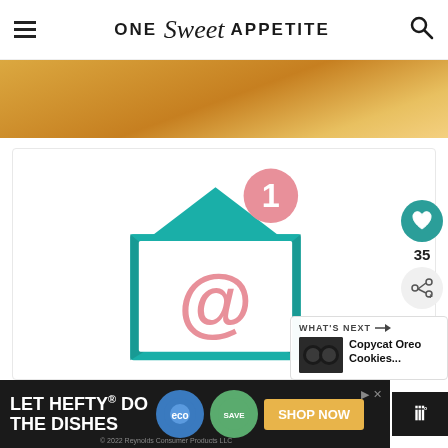ONE Sweet APPETITE
[Figure (photo): Food photo — warm golden/amber toned background, partial view of a dish or surface]
[Figure (illustration): Email subscription illustration: teal open envelope with @ symbol inside, pink notification badge with number 1]
35
[Figure (infographic): WHAT'S NEXT panel showing Copycat Oreo Cookies... with a thumbnail of dark cookies]
[Figure (screenshot): Advertisement banner: LET HEFTY DO THE DISHES — Hefty EcoSave products — SHOP NOW button — © 2022 Reynolds Consumer Products LLC]